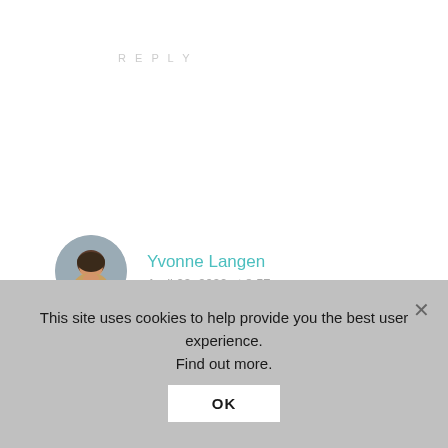REPLY
[Figure (photo): Circular avatar photo of a woman with dark hair wearing a tan/beige outfit, standing in front of a blurred background]
Yvonne Langen
April 22, 2020 at 8:57 am
[Figure (other): Five filled teal/turquoise star rating icons]
I would never have dreamt of including shredded sweet potato in my breakfast tacos but it adds so
This site uses cookies to help provide you the best user experience. Find out more.
OK